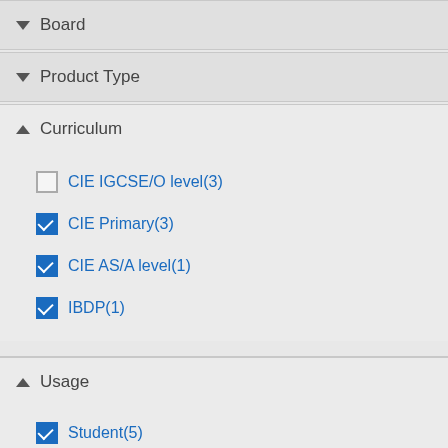▼ Board
▼ Product Type
▲ Curriculum
CIE IGCSE/O level(3)
CIE Primary(3)
CIE AS/A level(1)
IBDP(1)
▲ Usage
Student(5)